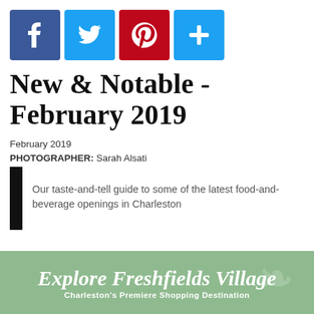[Figure (logo): Four social media share icons: Facebook (blue), Twitter (light blue), Pinterest (red), and a plus/share button (light blue), each approximately 72x72px with white icons on colored square backgrounds.]
New & Notable - February 2019
February 2019
PHOTOGRAPHER: Sarah Alsati
Our taste-and-tell guide to some of the latest food-and-beverage openings in Charleston
[Figure (illustration): Green banner advertisement for Freshfields Village reading 'Explore Freshfields Village' with subtitle 'Charleston's Premiere Shopping Destination', with faint decorative background text.]